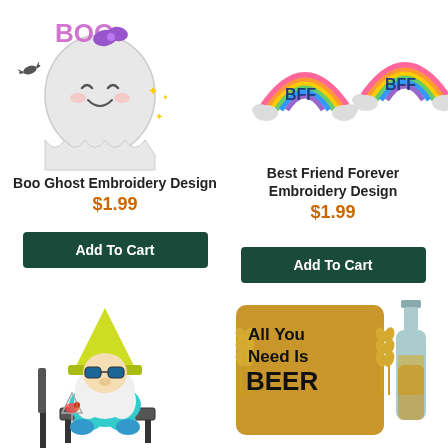[Figure (illustration): Boo Ghost embroidery design - a cute white ghost with 'BOO' text and a bat]
[Figure (illustration): Best Friend Forever embroidery design - rainbow with BFF text and clouds]
Boo Ghost Embroidery Design
$1.99
Add To Cart
Best Friend Forever Embroidery Design
$1.99
Add To Cart
[Figure (illustration): Gnome sitting in a chair wearing yellow hat and sunglasses, holding a cocktail]
[Figure (illustration): All You Need Is Beer embroidery design with beer bottle]